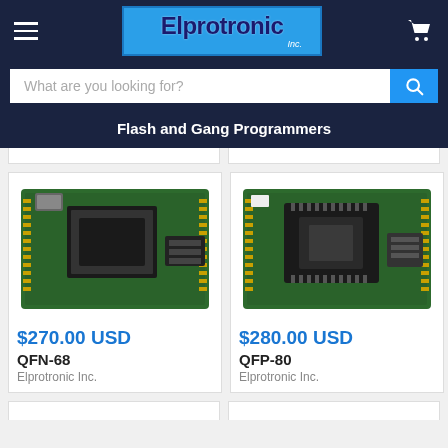[Figure (logo): Elprotronic Inc. logo on blue background]
What are you looking for?
Flash and Gang Programmers
[Figure (photo): QFN-68 green PCB programmer board with IC socket and connector]
$270.00 USD
QFN-68
Elprotronic Inc.
[Figure (photo): QFP-80 green PCB programmer board with IC socket and connector]
$280.00 USD
QFP-80
Elprotronic Inc.